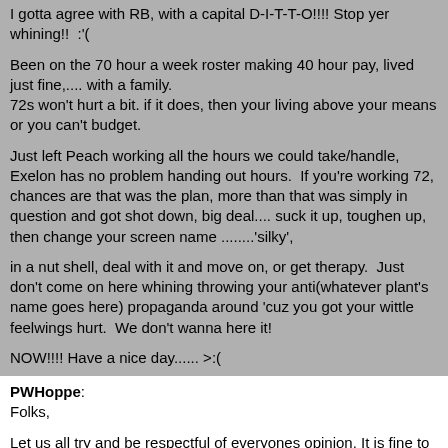I gotta agree with RB, with a capital D-I-T-T-O!!!! Stop yer whining!!  :'(

Been on the 70 hour a week roster making 40 hour pay, lived just fine,.... with a family.
72s won't hurt a bit. if it does, then your living above your means or you can't budget.

Just left Peach working all the hours we could take/handle, Exelon has no problem handing out hours.  If you're working 72, chances are that was the plan, more than that was simply in question and got shot down, big deal.... suck it up, toughen up, then change your screen name ........'silky',

in a nut shell, deal with it and move on, or get therapy.  Just don't come on here whining throwing your anti(whatever plant's name goes here) propaganda around 'cuz you got your wittle feelwings hurt.  We don't wanna here it!

NOW!!!! Have a nice day...... >:(
PWHoppe: Folks,

Let us all try and be respectful of everyones opinion. It is fine to disagree with another's take on a situation, but please try and do it ...